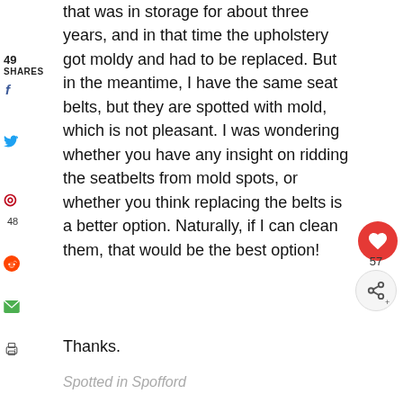that was in storage for about three years, and in that time the upholstery got moldy and had to be replaced. But in the meantime, I have the same seat belts, but they are spotted with mold, which is not pleasant. I was wondering whether you have any insight on ridding the seatbelts from mold spots, or whether you think replacing the belts is a better option. Naturally, if I can clean them, that would be the best option!
Thanks.
Spotted in Spofford